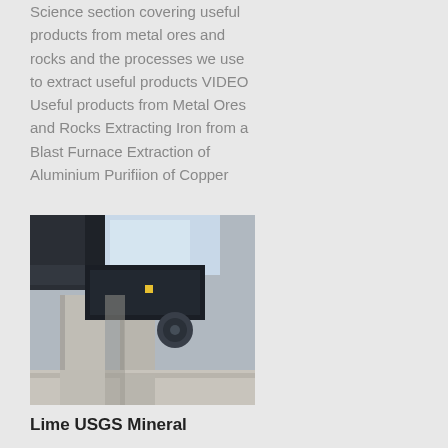Science section covering useful products from metal ores and rocks and the processes we use to extract useful products VIDEO Useful products from Metal Ores and Rocks Extracting Iron from a Blast Furnace Extraction of Aluminium Purifiion of Copper
[Figure (photo): Photograph of an industrial facility showing concrete pillars and metal structures with a glass roof overhead, likely a smelting or mining plant interior.]
Lime USGS Mineral